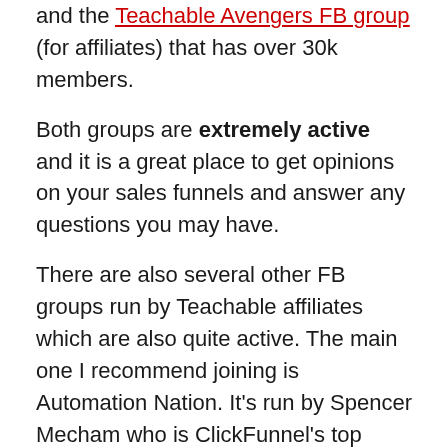and the Teachable Avengers FB group (for affiliates) that has over 30k members.
Both groups are extremely active and it is a great place to get opinions on your sales funnels and answer any questions you may have.
There are also several other FB groups run by Teachable affiliates which are also quite active. The main one I recommend joining is Automation Nation. It's run by Spencer Mecham who is ClickFunnel's top affiliate.
What integrations do they offer?
Even though Teachable Quora has its own email